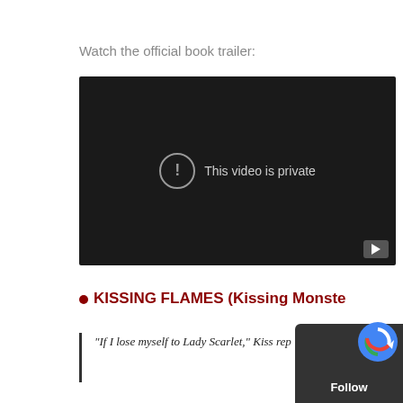Watch the official book trailer:
[Figure (screenshot): Embedded YouTube video player showing 'This video is private' message with an exclamation mark icon in a circle, on a dark background with YouTube logo button in the bottom right corner.]
• KISSING FLAMES (Kissing Monste…
"If I lose myself to Lady Scarlet," Kiss rep…